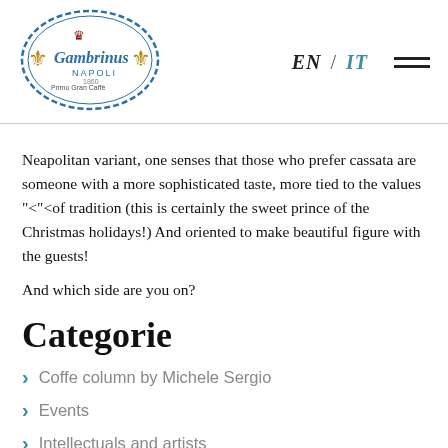[Figure (logo): Gambrinus Napoli oval logo with decorative blue border and golden figure in center]
EN / IT
Neapolitan variant, one senses that those who prefer cassata are someone with a more sophisticated taste, more tied to the values "<"<of tradition (this is certainly the sweet prince of the Christmas holidays!) And oriented to make beautiful figure with the guests!
And which side are you on?
Categorie
Coffe column by Michele Sergio
Events
Intellectuals and artists